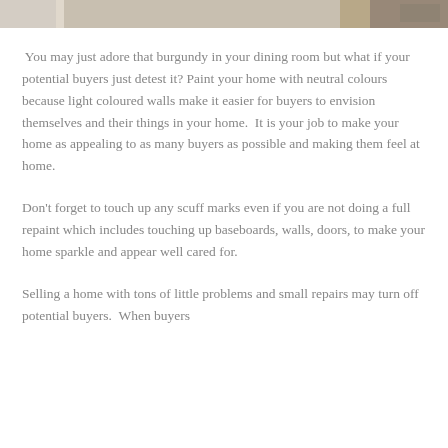[Figure (photo): Partial view of a room interior, cropped at the top of the page]
You may just adore that burgundy in your dining room but what if your potential buyers just detest it? Paint your home with neutral colours because light coloured walls make it easier for buyers to envision themselves and their things in your home.  It is your job to make your home as appealing to as many buyers as possible and making them feel at home.
Don't forget to touch up any scuff marks even if you are not doing a full repaint which includes touching up baseboards, walls, doors, to make your home sparkle and appear well cared for.
Selling a home with tons of little problems and small repairs may turn off potential buyers.  When buyers